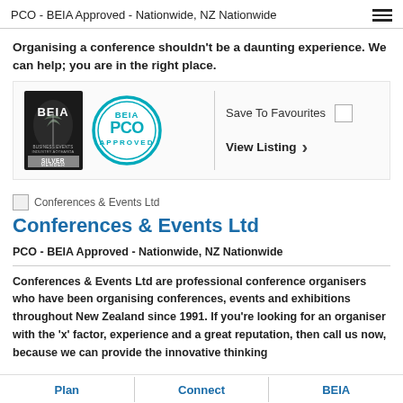PCO - BEIA Approved - Nationwide, NZ Nationwide
Organising a conference shouldn't be a daunting experience. We can help; you are in the right place.
[Figure (logo): BEIA Silver Member badge and BEIA PCO Approved circular badge with Save To Favourites checkbox and View Listing button]
[Figure (logo): Conferences & Events Ltd company image placeholder icon]
Conferences & Events Ltd
PCO - BEIA Approved - Nationwide, NZ Nationwide
Conferences & Events Ltd are professional conference organisers who have been organising conferences, events and exhibitions throughout New Zealand since 1991. If you're looking for an organiser with the 'x' factor, experience and a great reputation, then call us now, because we can provide the innovative thinking
Plan    Connect    BEIA